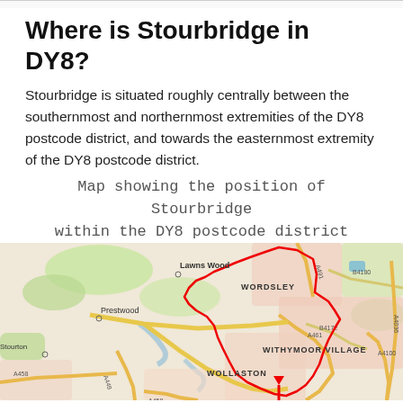Where is Stourbridge in DY8?
Stourbridge is situated roughly centrally between the southernmost and northernmost extremities of the DY8 postcode district, and towards the easternmost extremity of the DY8 postcode district.
Map showing the position of Stourbridge within the DY8 postcode district
[Figure (map): Street map showing the position of Stourbridge within the DY8 postcode district. The map shows areas including Wordsley, Wollaston, Withymoor Village, Lawns Wood, Prestwood, and Stourton. Roads shown include A491, B4180, A4036, B4172, A4100, A461, A449, A458. A red boundary line outlines an area including Wordsley and extends south and east, with a red arrow pointing downward near the bottom.]